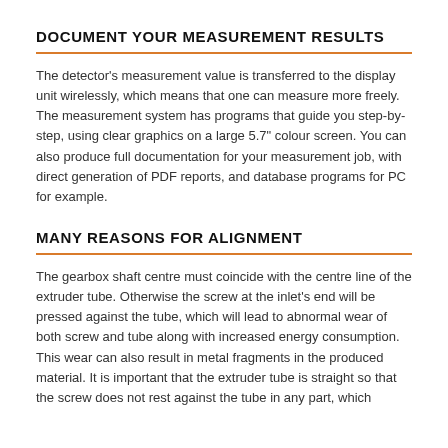DOCUMENT YOUR MEASUREMENT RESULTS
The detector's measurement value is transferred to the display unit wirelessly, which means that one can measure more freely. The measurement system has programs that guide you step-by-step, using clear graphics on a large 5.7" colour screen. You can also produce full documentation for your measurement job, with direct generation of PDF reports, and database programs for PC for example.
MANY REASONS FOR ALIGNMENT
The gearbox shaft centre must coincide with the centre line of the extruder tube. Otherwise the screw at the inlet's end will be pressed against the tube, which will lead to abnormal wear of both screw and tube along with increased energy consumption. This wear can also result in metal fragments in the produced material. It is important that the extruder tube is straight so that the screw does not rest against the tube in any part, which